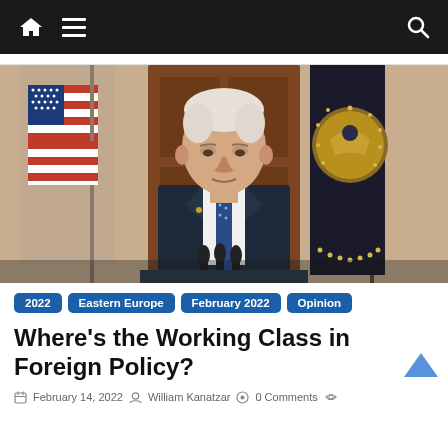Navigation bar with home, menu, and search icons
[Figure (photo): President Biden speaking at a podium with microphones, wearing a dark suit and blue tie, with an American flag on the left and a presidential seal flag on the right, standing in front of a brown wooden door.]
2022  Eastern Europe  February 2022  Opinion
Where's the Working Class in Foreign Policy?
February 14, 2022  William Kanatzar  0 Comments